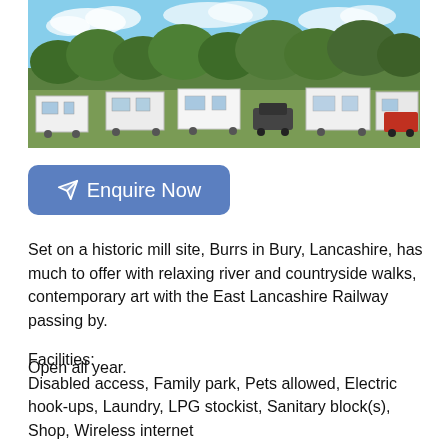[Figure (photo): Outdoor caravan/camping site with multiple white caravans parked on grass, green trees in background, blue sky with clouds]
Enquire Now
Set on a historic mill site, Burrs in Bury, Lancashire, has much to offer with relaxing river and countryside walks, contemporary art with the East Lancashire Railway passing by.

Open all year.
Facilities:
Disabled access, Family park, Pets allowed, Electric hook-ups, Laundry, LPG stockist, Sanitary block(s), Shop, Wireless internet
Baby, parent and toddler washroom
Information Room